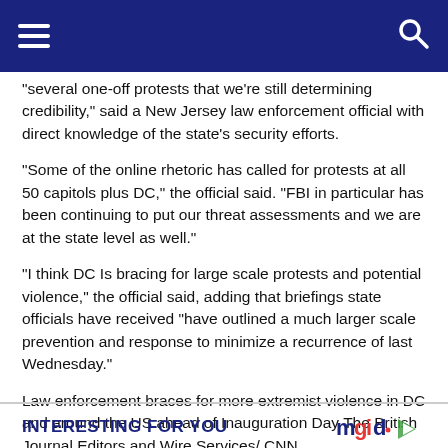Navigation bar with hamburger menu and search icon
“several one-off protests that we’re still determining credibility,” said a New Jersey law enforcement official with direct knowledge of the state’s security efforts.
“Some of the online rhetoric has called for protests at all 50 capitols plus DC,” the official said. “FBI in particular has been continuing to put our threat assessments and we are at the state level as well.”
“I think DC Is bracing for large scale protests and potential violence,” the official said, adding that briefings state officials have received “have outlined a much larger scale prevention and response to minimize a recurrence of last Wednesday.”
Law enforcement braces for more extremist violence in DC and around the US ahead of Inauguration Day The British Journal Editors and Wire Services/ CNN.
INTERESTING FOR YOU